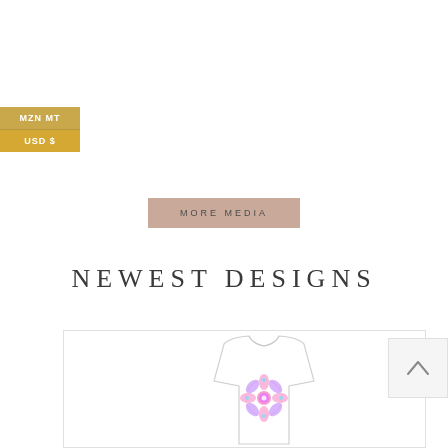MZN MT
USD $
MORE MEDIA
NEWEST DESIGNS
[Figure (photo): White t-shirt with colorful floral/mandala design printed on the front, displayed on a white background inside a product card with light border.]
^